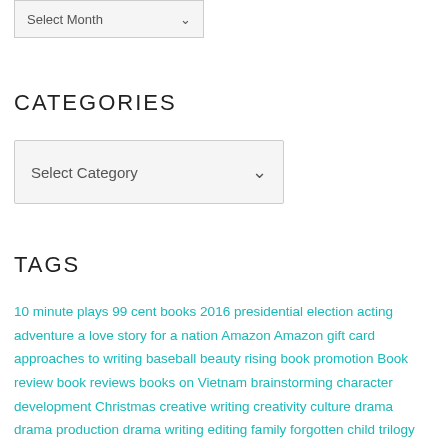[Figure (screenshot): A 'Select Month' dropdown input box with light gray background and border]
CATEGORIES
[Figure (screenshot): A 'Select Category' dropdown input box with light gray background, border, and chevron arrow]
TAGS
10 minute plays 99 cent books 2016 presidential election acting adventure a love story for a nation Amazon Amazon gift card approaches to writing baseball beauty rising book promotion Book review book reviews books on Vietnam brainstorming character development Christmas creative writing creativity culture drama drama production drama writing editing family forgotten child trilogy free kindle books French Indochina giveaway Goodreads